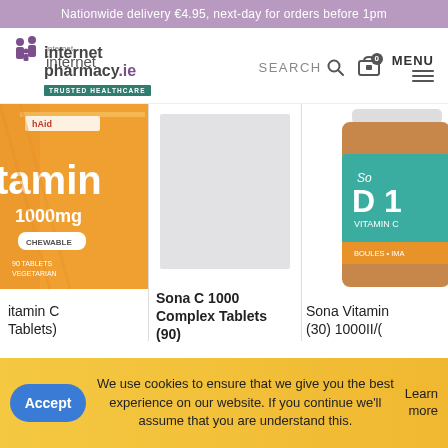Nationwide delivery €4.95, next-day for orders before 1pm
[Figure (logo): internet pharmacy.ie TRUSTED HEALTHCARE logo with purple family icon]
SEARCH
[Figure (screenshot): Product listing page showing three vitamin products: partial HealthAid Vitamin C 1000mg Chewable Tablets on left, Sona C 1000 Complex Tablets (90) in middle with grey placeholder image, and partial Sona Vitamin D (30) 1000IU on right]
Sona C 1000 Complex Tablets (90)
Sona Vitamin
We use cookies to ensure that we give you the best experience on our website. If you continue we'll assume that you are understand this.
Learn more